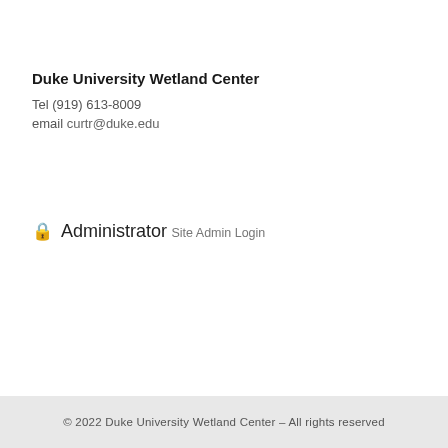Duke University Wetland Center
Tel (919) 613-8009
email curtr@duke.edu
🔒 Administrator
Site Admin Login
© 2022 Duke University Wetland Center – All rights reserved